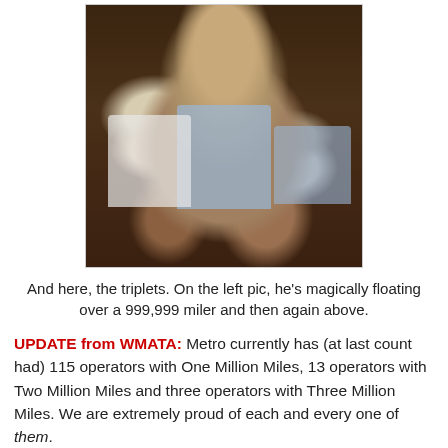[Figure (photo): Group photo of five people in uniforms (light blue shirts and white shirts with dark ties), appearing to be transit or public service workers, posed together in a dimly lit setting.]
And here, the triplets. On the left pic, he's magically floating over a 999,999 miler and then again above.
UPDATE from WMATA: Metro currently has (at last count had) 115 operators with One Million Miles, 13 operators with Two Million Miles and three operators with Three Million Miles. We are extremely proud of each and every one of them.